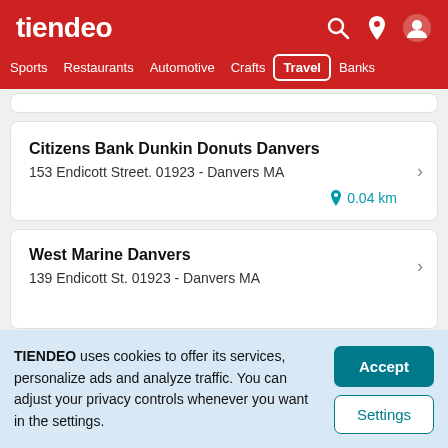tiendeo
Sports | Restaurants | Automotive | Crafts | Travel | Banks
Citizens Bank Dunkin Donuts Danvers
153 Endicott Street. 01923 - Danvers MA
0.04 km
West Marine Danvers
139 Endicott St. 01923 - Danvers MA
TIENDEO uses cookies to offer its services, personalize ads and analyze traffic. You can adjust your privacy controls whenever you want in the settings.